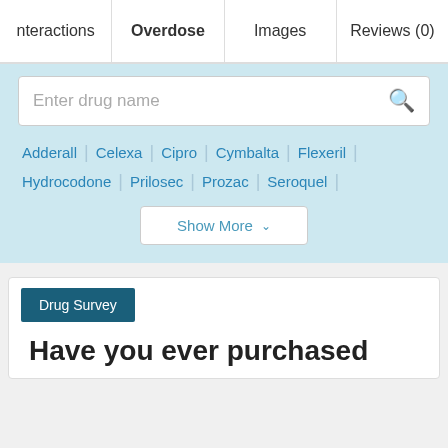nteractions | Overdose | Images | Reviews (0)
Enter drug name
Adderall | Celexa | Cipro | Cymbalta | Flexeril |
Hydrocodone | Prilosec | Prozac | Seroquel |
Show More
Drug Survey
Have you ever purchased